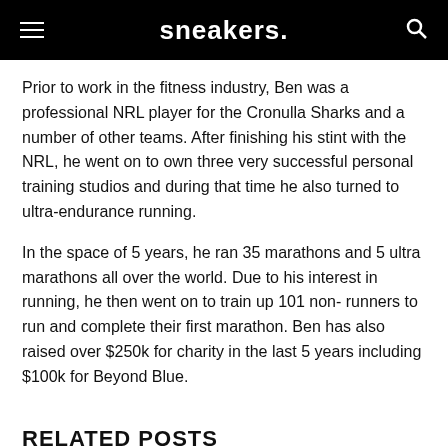sneakers.
Prior to work in the fitness industry, Ben was a professional NRL player for the Cronulla Sharks and a number of other teams. After finishing his stint with the NRL, he went on to own three very successful personal training studios and during that time he also turned to ultra-endurance running.
In the space of 5 years, he ran 35 marathons and 5 ultra marathons all over the world. Due to his interest in running, he then went on to train up 101 non- runners to run and complete their first marathon. Ben has also raised over $250k for charity in the last 5 years including $100k for Beyond Blue.
RELATED POSTS